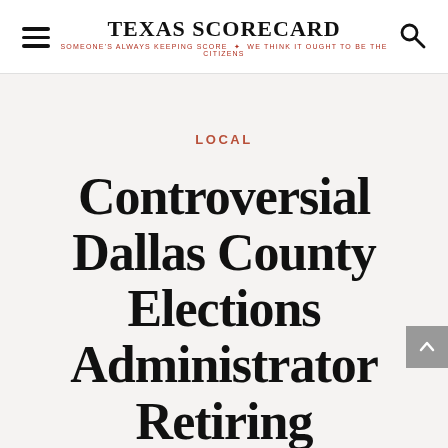TEXAS SCORECARD — SOMEONE'S ALWAYS KEEPING SCORE • WE THINK IT OUGHT TO BE THE CITIZENS
LOCAL
Controversial Dallas County Elections Administrator Retiring